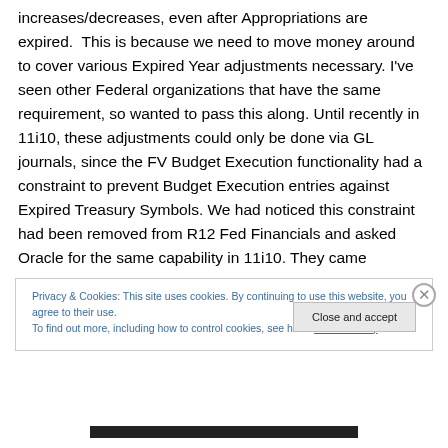increases/decreases, even after Appropriations are expired.  This is because we need to move money around to cover various Expired Year adjustments necessary. I've seen other Federal organizations that have the same requirement, so wanted to pass this along. Until recently in 11i10, these adjustments could only be done via GL journals, since the FV Budget Execution functionality had a constraint to prevent Budget Execution entries against Expired Treasury Symbols. We had noticed this constraint had been removed from R12 Fed Financials and asked Oracle for the same capability in 11i10. They came
Privacy & Cookies: This site uses cookies. By continuing to use this website, you agree to their use.
To find out more, including how to control cookies, see here: Cookie Policy
Close and accept